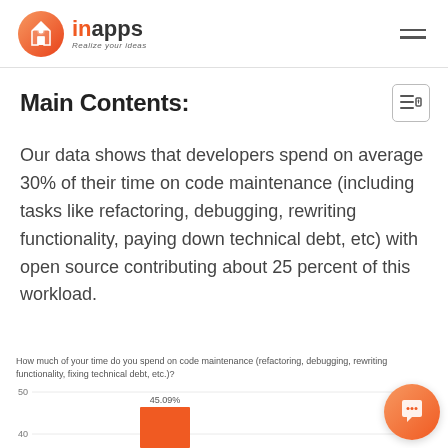inapps — Realize your ideas
Main Contents:
Our data shows that developers spend on average 30% of their time on code maintenance (including tasks like refactoring, debugging, rewriting functionality, paying down technical debt, etc) with open source contributing about 25 percent of this workload.
How much of your time do you spend on code maintenance (refactoring, debugging, rewriting functionality, fixing technical debt, etc.)?
[Figure (bar-chart): Partial bar chart visible showing a bar at 45.09%, y-axis shows 40 and 50 gridlines]